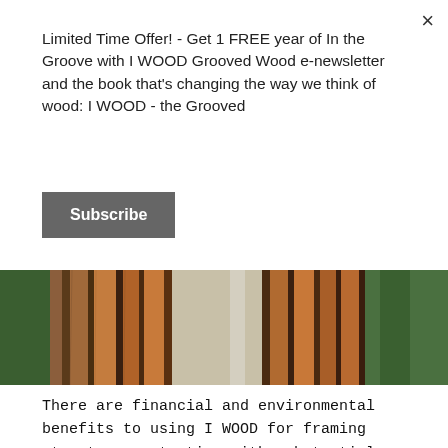Limited Time Offer! - Get 1 FREE year of In the Groove with I WOOD Grooved Wood e-newsletter and the book that's changing the way we think of wood: I WOOD - the Grooved
Subscribe
[Figure (photo): Photograph showing wooden framing/posts with trees and foliage visible in the background, natural lighting]
There are financial and environmental benefits to using I WOOD for framing structures, starting with substantial improvements in the total R-Value of insulation, as explained below. I WOOD framing offers short and long-term savings to builders and homeowners. The building industry will experience an